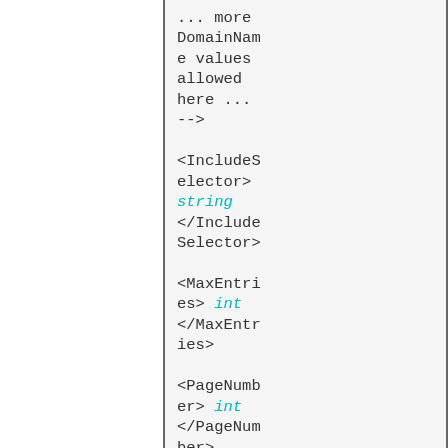... more DomainName values allowed here ... -->
<IncludeSelector> string </IncludeSelector>
<MaxEntries> int </MaxEntries>
<PageNumber> int </PageNumber>